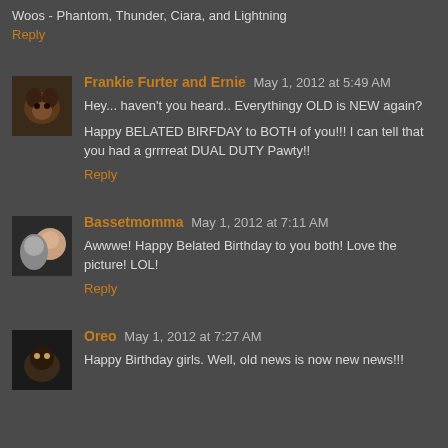Woos - Phantom, Thunder, Ciara, and Lightning
Reply
Frankie Furter and Ernie  May 1, 2012 at 5:49 AM
Hey... haven't you heard.. Everythingy OLD is NEW again?
Happy BELATED BIRFDAY to BOTH of you!!! I can tell that you had a grrrreat DUAL DUTY Pawty!!
Reply
Bassetmomma  May 1, 2012 at 7:11 AM
Awwwe! Happy Belated Birthday to you both! Love the picture! LOL!
Reply
Oreo  May 1, 2012 at 7:27 AM
Happy Birthday girls. Well, old news is now new news!!!